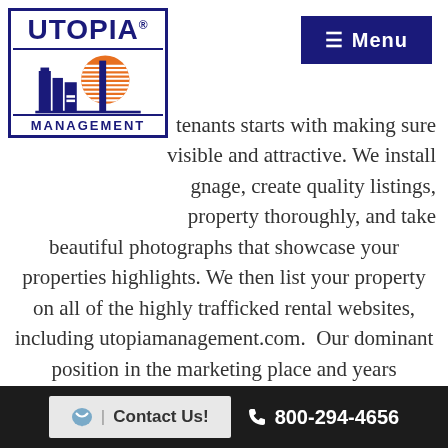[Figure (logo): Utopia Management logo — blue bordered box with UTOPIA text in blue, orange sun graphic with city skyline silhouette, and MANAGEMENT text below]
Menu
tenants starts with making sure visible and attractive. We install gnage, create quality listings, property thoroughly, and take beautiful photographs that showcase your properties highlights. We then list your property on all of the highly trafficked rental websites, including utopiamanagement.com.  Our dominant position in the marketing place and years managing rental properties has allowed us to develop a sizable referral database. This positive
Contact Us!  |  800-294-4656